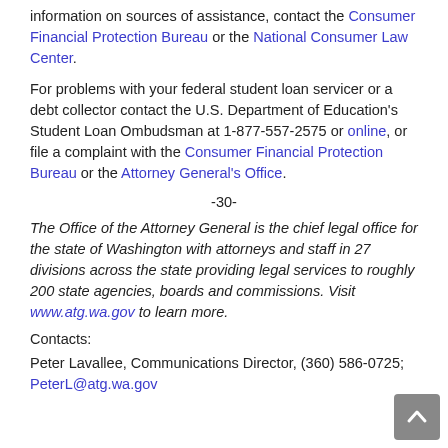information on sources of assistance, contact the Consumer Financial Protection Bureau or the National Consumer Law Center.
For problems with your federal student loan servicer or a debt collector contact the U.S. Department of Education's Student Loan Ombudsman at 1-877-557-2575 or online, or file a complaint with the Consumer Financial Protection Bureau or the Attorney General's Office.
-30-
The Office of the Attorney General is the chief legal office for the state of Washington with attorneys and staff in 27 divisions across the state providing legal services to roughly 200 state agencies, boards and commissions. Visit www.atg.wa.gov to learn more.
Contacts:
Peter Lavallee, Communications Director, (360) 586-0725; PeterL@atg.wa.gov